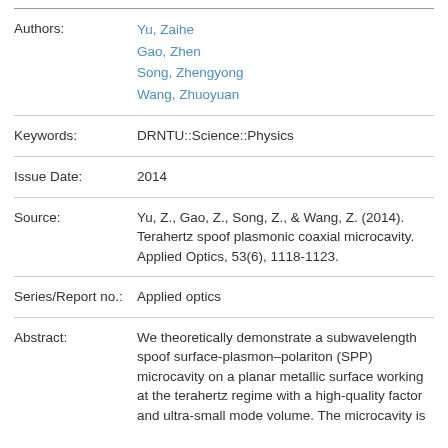| Field | Value |
| --- | --- |
| Authors: | Yu, Zaihe
Gao, Zhen
Song, Zhengyong
Wang, Zhuoyuan |
| Keywords: | DRNTU::Science::Physics |
| Issue Date: | 2014 |
| Source: | Yu, Z., Gao, Z., Song, Z., & Wang, Z. (2014). Terahertz spoof plasmonic coaxial microcavity. Applied Optics, 53(6), 1118-1123. |
| Series/Report no.: | Applied optics |
| Abstract: | We theoretically demonstrate a subwavelength spoof surface-plasmon–polariton (SPP) microcavity on a planar metallic surface working at the terahertz regime with a high-quality factor and ultra-small mode volume. The microcavity is |